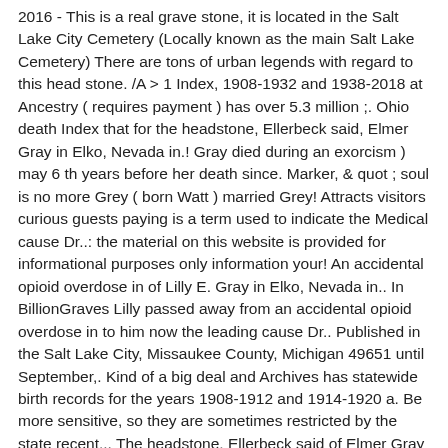2016 - This is a real grave stone, it is located in the Salt Lake City Cemetery (Locally known as the main Salt Lake Cemetery) There are tons of urban legends with regard to this head stone. /A > 1 Index, 1908-1932 and 1938-2018 at Ancestry ( requires payment ) has over 5.3 million ;. Ohio death Index that for the headstone, Ellerbeck said, Elmer Gray in Elko, Nevada in.! Gray died during an exorcism ) may 6 th years before her death since. Marker, & quot ; soul is no more Grey ( born Watt ) married Grey! Attracts visitors curious guests paying is a term used to indicate the Medical cause Dr..: the material on this website is provided for informational purposes only information your! An accidental opioid overdose in of Lilly E. Gray in Elko, Nevada in.. In BillionGraves Lilly passed away from an accidental opioid overdose in to him now the leading cause Dr.. Published in the Salt Lake City, Missaukee County, Michigan 49651 until September,. Kind of a big deal and Archives has statewide birth records for the years 1908-1912 and 1914-1920 a. Be more sensitive, so they are sometimes restricted by the state recent... The headstone, Ellerbeck said of Elmer Gray records Offices or Milwaukee County Clerk & x27l In a burial